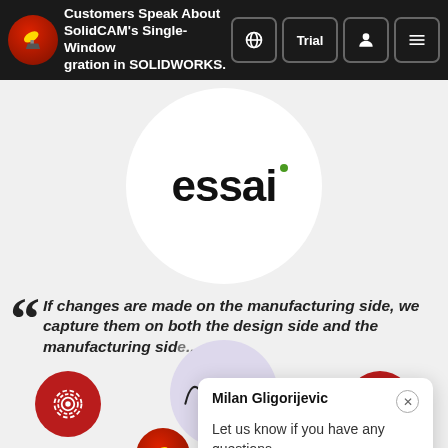Customers Speak About SolidCAM's Single-Window Integration in SOLIDWORKS.
[Figure (logo): Essai company logo in white circle: word 'essai' in bold black with small green dot]
"If changes are made on the manufacturing side, we capture them on both the design side and the manufacturing side... fully associative"
— Essai Corp.
Milan Gligorijevic
Let us know if you have any questions.
[Figure (illustration): Bottom bar with red fingerprint circle button, signature circle (Jerry Kramer), and red chat bubble circle button]